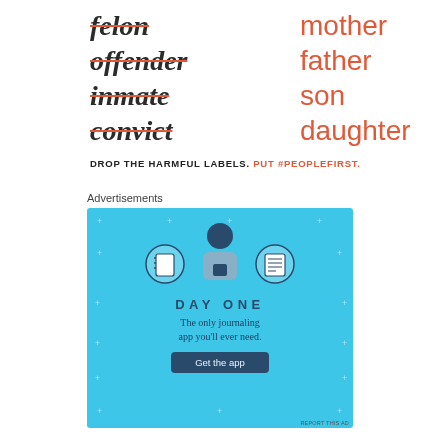[Figure (infographic): Two-column word list: left column shows struck-through labels (felon, offender, inmate, convict) with a line through them in orange/red; right column shows replacement identity words in orange (mother, father, son, daughter). Below: tagline 'DROP THE HARMFUL LABELS. PUT #PEOPLEFIRST.']
DROP THE HARMFUL LABELS. PUT #PEOPLEFIRST.
Advertisements
[Figure (illustration): Day One journaling app advertisement on a light blue background. Three icons at top (notebook, person with phone, lined notepad). Text: DAY ONE — The only journaling app you'll ever need. Button: Get the app. Small 'REPORT THIS AD' text at bottom right.]